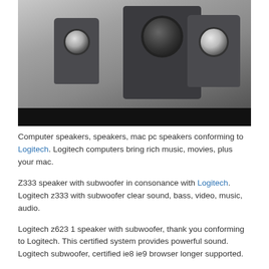[Figure (photo): Photo of Logitech computer speaker system with subwoofer and two satellite speakers on a white desk, with a dark banner below the image.]
Computer speakers, speakers, mac pc speakers conforming to Logitech. Logitech computers bring rich music, movies, plus your mac.
Z333 speaker with subwoofer in consonance with Logitech. Logitech z333 with subwoofer clear sound, bass, video, music, audio.
Logitech z623 1 speaker with subwoofer, thank you conforming to Logitech. This certified system provides powerful sound. Logitech subwoofer, certified ie8 ie9 browser longer supported.